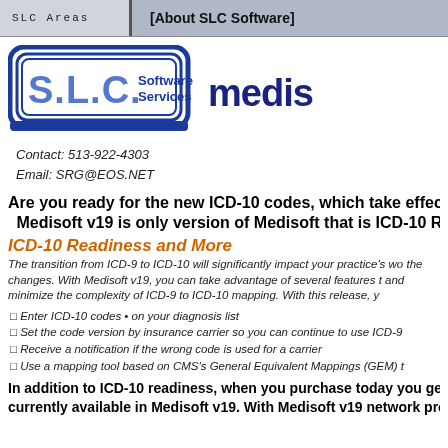SLC Areas   [About SLC Software]
[Figure (logo): S.L.C. Software Services logo with blue rounded rectangle border and blue text]
[Figure (logo): Medisoft logo text in dark blue]
Contact: 513-922-4303
Email: SRG@EOS.NET
Are you ready for the new ICD-10 codes, which take effect
Medisoft v19 is only version of Medisoft that is ICD-10 REA
ICD-10 Readiness and More
The transition from ICD-9 to ICD-10 will significantly impact your practice's wo the changes. With Medisoft v19, you can take advantage of several features t and minimize the complexity of ICD-9 to ICD-10 mapping. With this release, y
□ Enter ICD-10 codes • on your diagnosis list
□ Set the code version by insurance carrier so you can continue to use ICD-9
□ Receive a notification if the wrong code is used for a carrier
□ Use a mapping tool based on CMS's General Equivalent Mappings (GEM) t
In addition to ICD-10 readiness, when you purchase today you get all t currently available in Medisoft v19. With Medisoft v19 network pro